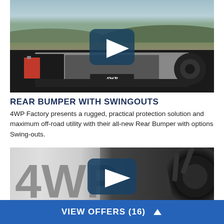[Figure (photo): Rear view of a lifted truck with 4WP rear bumper with swingouts, red Jerry can on left swingout, spare tire on right swingout, parked on grass field. Blue tinted play button overlay in center.]
REAR BUMPER WITH SWINGOUTS
4WP Factory presents a rugged, practical protection solution and maximum off-road utility with their all-new Rear Bumper with options Swing-outs.
[Figure (photo): Close-up of 4WP logo on white vehicle body with off-road tire visible on right side. Blue tinted play button overlay in center.]
VIEW OFFERS (16) ^